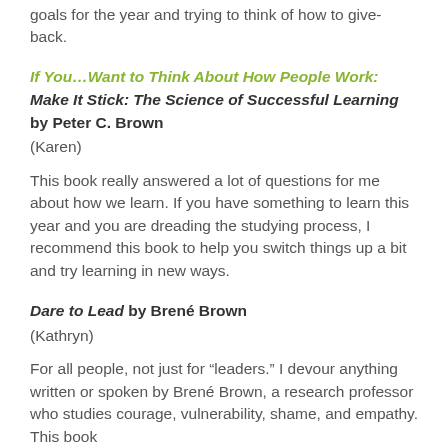goals for the year and trying to think of how to give-back.
If You…Want to Think About How People Work:
Make It Stick: The Science of Successful Learning by Peter C. Brown
(Karen)
This book really answered a lot of questions for me about how we learn. If you have something to learn this year and you are dreading the studying process, I recommend this book to help you switch things up a bit and try learning in new ways.
Dare to Lead by Brené Brown
(Kathryn)
For all people, not just for "leaders." I devour anything written or spoken by Brené Brown, a research professor who studies courage, vulnerability, shame, and empathy. This book